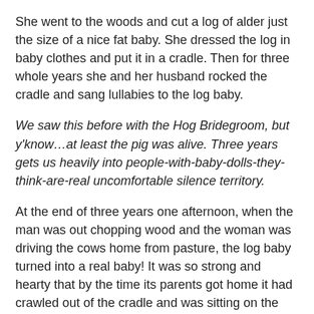She went to the woods and cut a log of alder just the size of a nice fat baby. She dressed the log in baby clothes and put it in a cradle. Then for three whole years she and her husband rocked the cradle and sang lullabies to the log baby.
We saw this before with the Hog Bridegroom, but y'know…at least the pig was alive. Three years gets us heavily into people-with-baby-dolls-they-think-are-real uncomfortable silence territory.
At the end of three years one afternoon, when the man was out chopping wood and the woman was driving the cows home from pasture, the log baby turned into a real baby! It was so strong and hearty that by the time its parents got home it had crawled out of the cradle and was sitting on the floor yelling lustily for food.
Oh dear god, he's made of were-wood.
It ate and ate and ate and the more it ate the faster it grew…